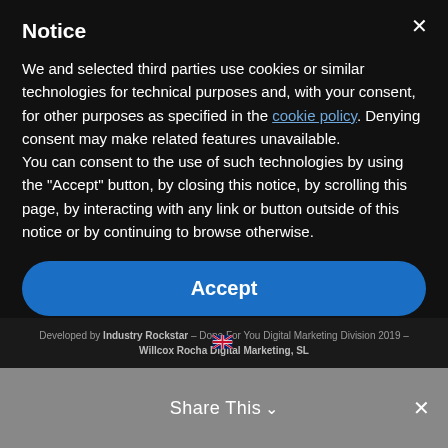Notice
We and selected third parties use cookies or similar technologies for technical purposes and, with your consent, for other purposes as specified in the cookie policy. Denying consent may make related features unavailable.
You can consent to the use of such technologies by using the "Accept" button, by closing this notice, by scrolling this page, by interacting with any link or button outside of this notice or by continuing to browse otherwise.
Accept
Learn more and customize
Developed by Industry Rockstar – Done For You Digital Marketing Division 2019 – Willcox Rocha Digital Marketing, SL
Share This